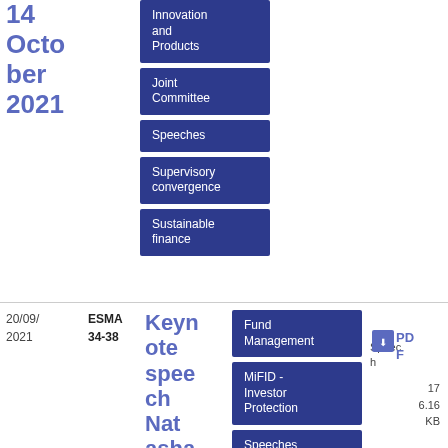14 October 2021
Innovation and Products
Joint Committee
Speeches
Supervisory convergence
Sustainable finance
20/09/2021
ESMA 34-38
Keynote speech Natasha Cazenave - Salo
Fund Management
Speech
MiFID - Investor Protection
Speeches
PDF
176.16 KB